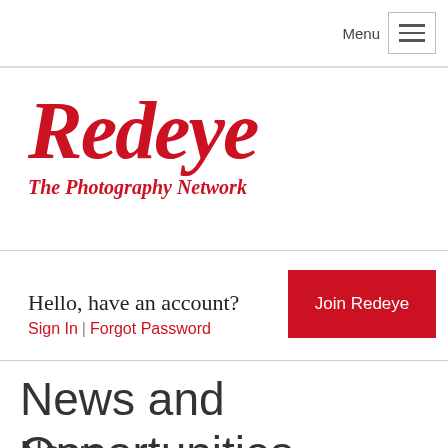Menu
[Figure (logo): Redeye logo — italic bold red serif text 'Redeye' with tagline 'The Photography Network' below in italic bold red]
Hello, have an account?
Sign In | Forgot Password
Join Redeye
News and Opportunities
News
Get Spliced and learn about...